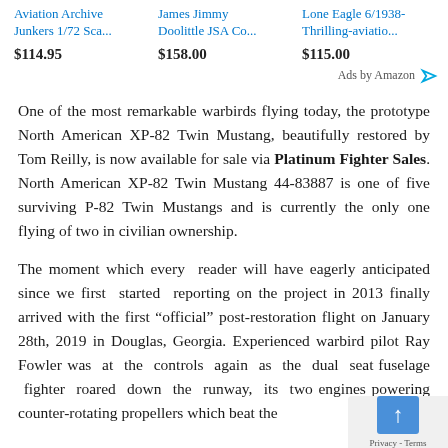[Figure (screenshot): Ad section showing three Amazon product listings: Aviation Archive Junkers 1/72 Sca... at $114.95, James Jimmy Doolittle JSA Co... at $158.00, Lone Eagle 6/1938-Thrilling-aviatio... at $115.00, with an 'Ads by Amazon' label.]
One of the most remarkable warbirds flying today, the prototype North American XP-82 Twin Mustang, beautifully restored by Tom Reilly, is now available for sale via Platinum Fighter Sales. North American XP-82 Twin Mustang 44-83887 is one of five surviving P-82 Twin Mustangs and is currently the only one flying of two in civilian ownership.
The moment which every reader will have eagerly anticipated since we first started reporting on the project in 2013 finally arrived with the first “official” post-restoration flight on January 28th, 2019 in Douglas, Georgia. Experienced warbird pilot Ray Fowler was at the controls again as the dual seat fuselage fighter roared down the runway, its two engines powering counter-rotating propellers which beat the